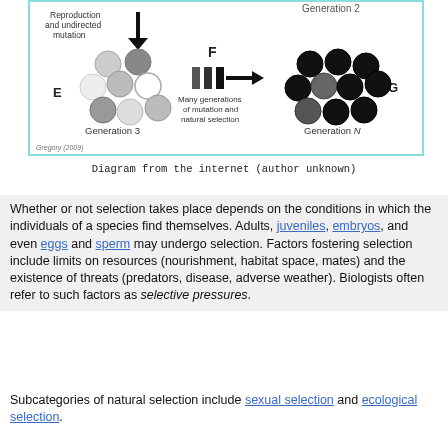[Figure (illustration): Diagram showing evolutionary natural selection across generations. Labels: Reproduction and undirected mutation (arrow down), E (Generation 3 circles various shades), F (filter symbol arrow), G (Generation N mostly dark circles). Text: Many generations of mutation and natural selection. Attribution: Gregory (2009).]
Diagram from the internet (author unknown)
Whether or not selection takes place depends on the conditions in which the individuals of a species find themselves. Adults, juveniles, embryos, and even eggs and sperm may undergo selection. Factors fostering selection include limits on resources (nourishment, habitat space, mates) and the existence of threats (predators, disease, adverse weather). Biologists often refer to such factors as selective pressures.
Subcategories of natural selection include sexual selection and ecological selection.